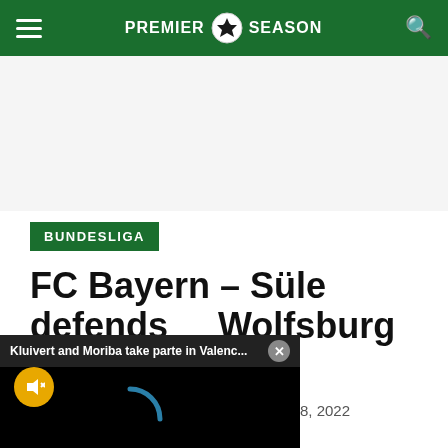PREMIER SEASON
BUNDESLIGA
FC Bayern – Süle defends Wolfsburg he said that
[Figure (screenshot): Video popup overlay showing 'Kluivert and Moriba take parte in Valenc...' with a close button, mute icon, and loading spinner on black background]
8, 2022